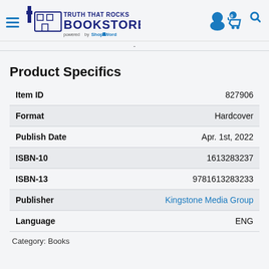[Figure (logo): Truth That Rocks Bookstore logo with cross icon and 'powered by ShopTheWord' tagline, plus navigation icons (user, cart with 0, search) on the right]
Product Specifics
| Item ID | 827906 |
| Format | Hardcover |
| Publish Date | Apr. 1st, 2022 |
| ISBN-10 | 1613283237 |
| ISBN-13 | 9781613283233 |
| Publisher | Kingstone Media Group |
| Language | ENG |
Category: Books